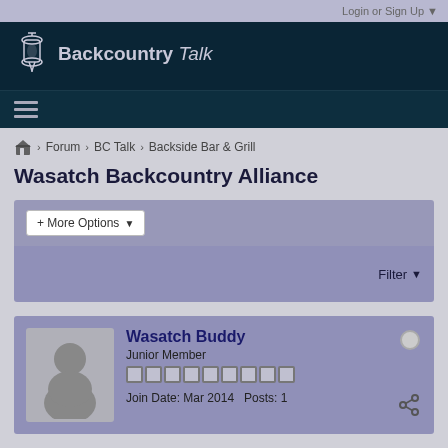Login or Sign Up ▼
[Figure (logo): Backcountry Talk logo with lantern icon]
Forum > BC Talk > Backside Bar & Grill
Wasatch Backcountry Alliance
+ More Options ▼
Filter ▼
Wasatch Buddy
Junior Member
Join Date: Mar 2014  Posts: 1